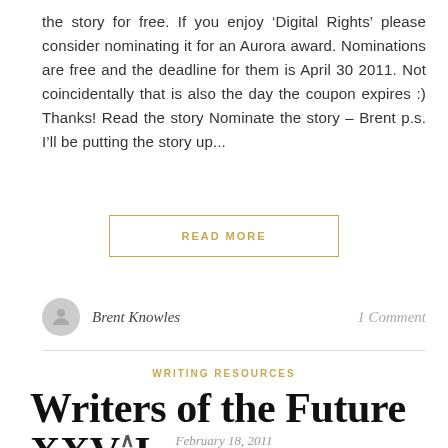the story for free. If you enjoy ‘Digital Rights’ please consider nominating it for an Aurora award. Nominations are free and the deadline for them is April 30 2011. Not coincidentally that is also the day the coupon expires :) Thanks! Read the story Nominate the story – Brent p.s. I’ll be putting the story up...
READ MORE
Brent Knowles
1 Comment
WRITING RESOURCES
Writers of the Future XXVI
February 18, 2011